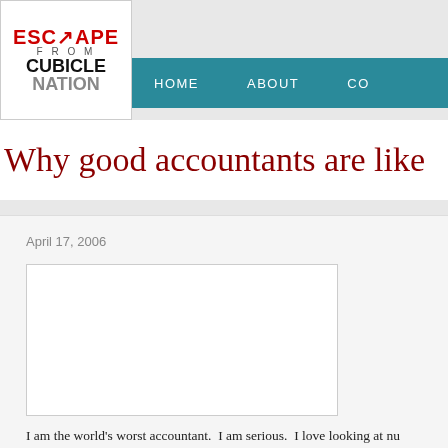[Figure (logo): Escape From Cubicle Nation logo — red ESCAPE text with arrow, grey FROM, black CUBICLE, grey NATION]
HOME   ABOUT   CO...
Why good accountants are like
April 17, 2006
[Figure (photo): A white/blank image placeholder box]
I am the world's worst accountant.  I am serious.  I love looking at nu...